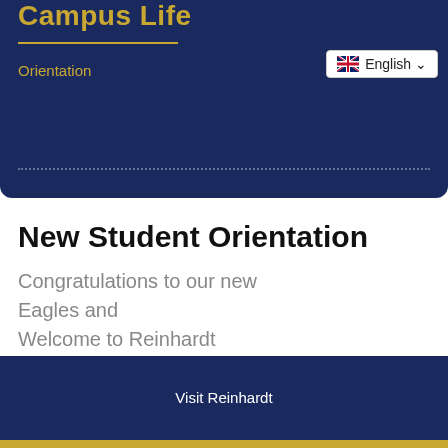Campus Life
Orientation
New Student Orientation
Congratulations to our new Eagles and Welcome to Reinhardt University!
Visit Reinhardt